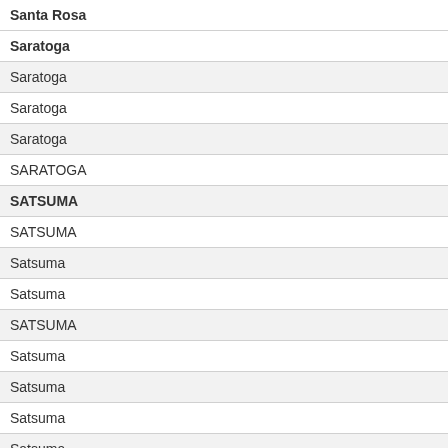| City | State |
| --- | --- |
| Santa Rosa | TX |
| Saratoga | TX |
| Saratoga | TX |
| Saratoga | TX |
| Saratoga | TX |
| SARATOGA | TX |
| SATSUMA | TX |
| SATSUMA | TX |
| Satsuma | TX |
| Satsuma | TX |
| SATSUMA | TX |
| Satsuma | TX |
| Satsuma | TX |
| Satsuma | TX |
| Satsuma | TX |
| SEABROOK | TX |
| SEABROOK | TX |
| Seabrook | TX |
| Seabrook | TX |